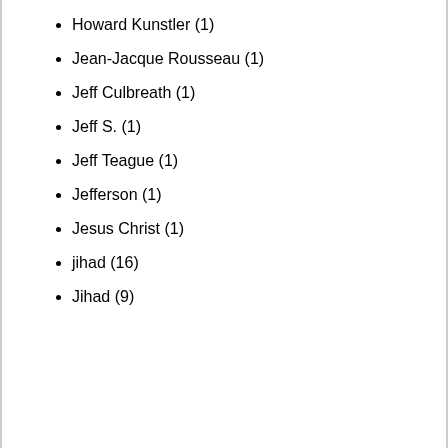Howard Kunstler (1)
Jean-Jacque Rousseau (1)
Jeff Culbreath (1)
Jeff S. (1)
Jeff Teague (1)
Jefferson (1)
Jesus Christ (1)
jihad (16)
Jihad (9)